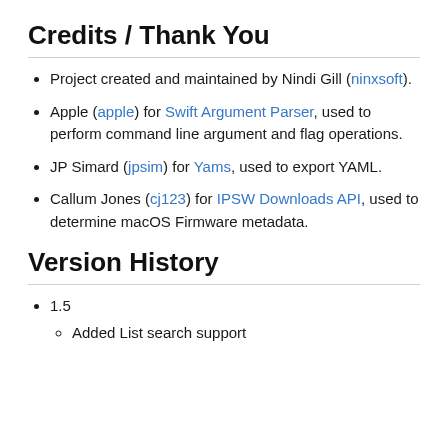Credits / Thank You
Project created and maintained by Nindi Gill (ninxsoft).
Apple (apple) for Swift Argument Parser, used to perform command line argument and flag operations.
JP Simard (jpsim) for Yams, used to export YAML.
Callum Jones (cj123) for IPSW Downloads API, used to determine macOS Firmware metadata.
Version History
1.5
Added List search support